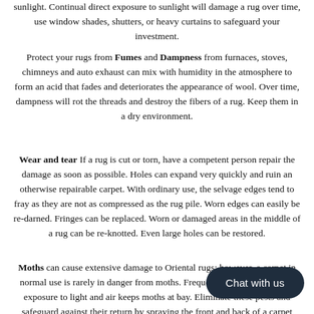sunlight. Continual direct exposure to sunlight will damage a rug over time, use window shades, shutters, or heavy curtains to safeguard your investment.
Protect your rugs from Fumes and Dampness from furnaces, stoves, chimneys and auto exhaust can mix with humidity in the atmosphere to form an acid that fades and deteriorates the appearance of wool. Over time, dampness will rot the threads and destroy the fibers of a rug. Keep them in a dry environment.
Wear and tear If a rug is cut or torn, have a competent person repair the damage as soon as possible. Holes can expand very quickly and ruin an otherwise repairable carpet. With ordinary use, the selvage edges tend to fray as they are not as compressed as the rug pile. Worn edges can easily be re-darned. Fringes can be replaced. Worn or damaged areas in the middle of a rug can be re-knotted. Even large holes can be restored.
Moths can cause extensive damage to Oriental rugs; however, a carpet in normal use is rarely in danger from moths. Frequent rotation and regular exposure to light and air keeps moths at bay. Eliminate these pests and safeguard against their return by spraying the front and back of a carpet every six months with moth